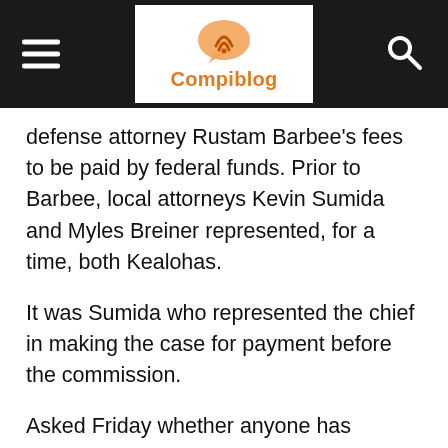Compiblog
defense attorney Rustam Barbee’s fees to be paid by federal funds. Prior to Barbee, local attorneys Kevin Sumida and Myles Breiner represented, for a time, both Kealohas.
It was Sumida who represented the chief in making the case for payment before the commission.
Asked Friday whether anyone has determined how much in legal fees has been incurred on Kealoha’s behalf, Menor said, “That’s a relevant issue we want to explore with the Corp Counsel Wednesday.”
Alexander Silvert, the now-retired first deputy public defender who represented Gerard Puana, the uncle of Katherine Kealoha whom the couple have now admitted they tried to